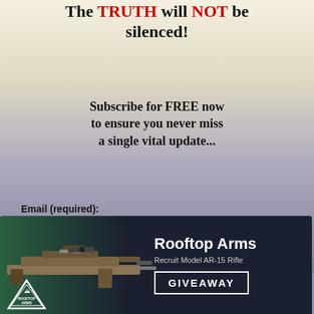The TRUTH will NOT be silenced!
Subscribe for FREE now to ensure you never miss a single vital update...
Email (required):
First Name:
ZIP Code:
[Figure (infographic): Rooftop Arms advertisement showing an AR-15 rifle with text 'Rooftop Arms Recruit Model AR-15 Rifle GIVEAWAY' and the Rooftop Arms logo]